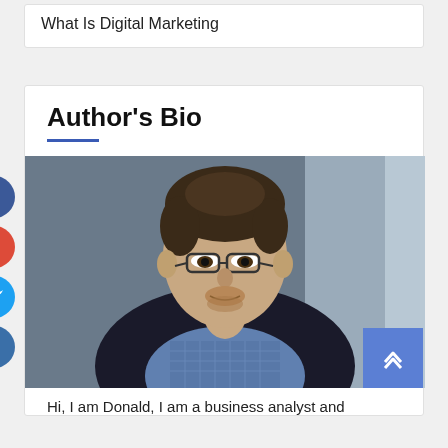What Is Digital Marketing
Author's Bio
[Figure (photo): Portrait photo of a man wearing glasses and a dark blazer with a checkered shirt, sitting near a window with blurred background]
Hi, I am Donald, I am a business analyst and